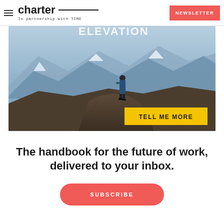charter — In partnership with TIME | NEWSLETTER
[Figure (photo): A person standing on a rocky mountain cliff edge with snow-capped mountains and blue mountain ridges in the background. A yellow button overlay reads 'TELL ME MORE'.]
The handbook for the future of work, delivered to your inbox.
SUBSCRIBE